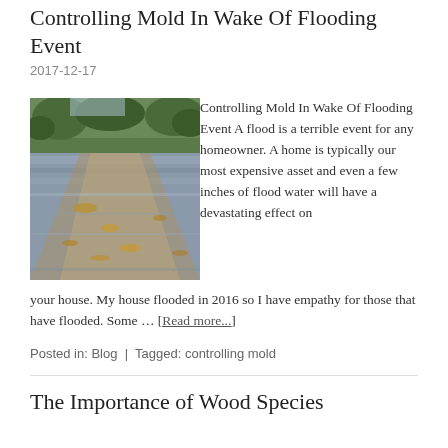Controlling Mold In Wake Of Flooding Event
2017-12-17
[Figure (photo): Photograph of flood water covering a road or ground surface, with murky brown and grey water and debris, trees visible in background.]
Controlling Mold In Wake Of Flooding Event A flood is a terrible event for any homeowner. A home is typically our most expensive asset and even a few inches of flood water will have a devastating effect on your house. My house flooded in 2016 so I have empathy for those that have flooded. Some … [Read more...]
Posted in: Blog | Tagged: controlling mold
The Importance of Wood Species